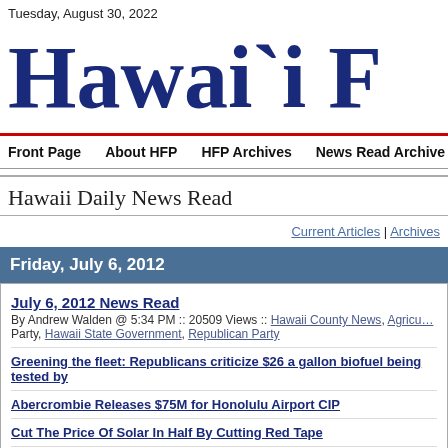Tuesday, August 30, 2022
Hawai`i F…
Front Page   About HFP   HFP Archives   News Read Archive   Get HFP by…
Hawaii Daily News Read
Current Articles | Archives
Friday, July 6, 2012
July 6, 2012 News Read
By Andrew Walden @ 5:34 PM :: 20509 Views :: Hawaii County News, Agriculture Party, Hawaii State Government, Republican Party
Greening the fleet: Republicans criticize $26 a gallon biofuel being tested by…
Abercrombie Releases $75M for Honolulu Airport CIP
Cut The Price Of Solar In Half By Cutting Red Tape
VIDEO: "We call it riding the gravy train."